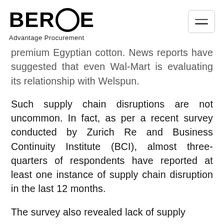BEROE Advantage Procurement
premium Egyptian cotton. News reports have suggested that even Wal-Mart is evaluating its relationship with Welspun.
Such supply chain disruptions are not uncommon. In fact, as per a recent survey conducted by Zurich Re and Business Continuity Institute (BCI), almost three-quarters of respondents have reported at least one instance of supply chain disruption in the last 12 months.
The survey also revealed lack of supply